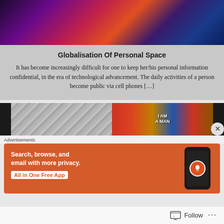[Figure (photo): Abstract colorful blurred image with purple, red, orange, and blue tones at the top of the page]
Globalisation Of Personal Space
It has become increasingly difficult for one to keep her/his personal information confidential, in the era of technological advancement. The daily activities of a person become public via cell phones […]
[Figure (photo): Two side-by-side images: left is a grayscale photo of a hand, right is a colorful graphic with text 'I AM A MAN']
Advertisements
[Figure (screenshot): DuckDuckGo advertisement with orange background. Text reads: Search, browse, and email with more privacy. All in One Free App. Shows a smartphone with DuckDuckGo logo.]
Follow ...